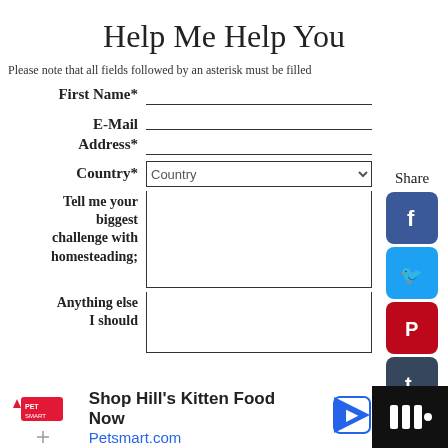Help Me Help You
Please note that all fields followed by an asterisk must be filled
First Name*
E-Mail Address*
Country*
Tell me your biggest challenge with homesteading;
Anything else I should
[Figure (screenshot): Social media share sidebar with Facebook, Twitter, Pinterest, Tumblr, Wanelo, and other share buttons, labeled 'Share']
[Figure (screenshot): Advertisement bar at bottom: PetSmart ad 'Shop Hill's Kitten Food Now Petsmart.com' with navigation arrow icon]